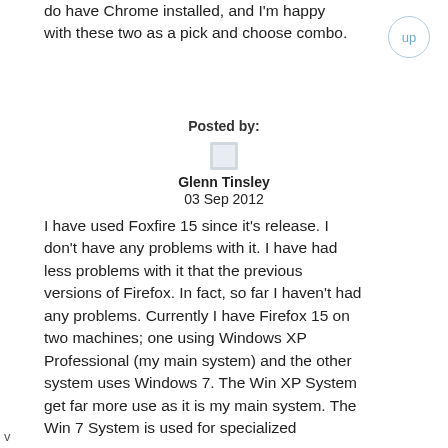do have Chrome installed, and I'm happy with these two as a pick and choose combo.
Posted by:
[Figure (other): User avatar placeholder image (gray square)]
Glenn Tinsley
03 Sep 2012
I have used Foxfire 15 since it's release. I don't have any problems with it. I have had less problems with it that the previous versions of Firefox. In fact, so far I haven't had any problems. Currently I have Firefox 15 on two machines; one using Windows XP Professional (my main system) and the other system uses Windows 7. The Win XP System get far more use as it is my main system. The Win 7 System is used for specialized
v